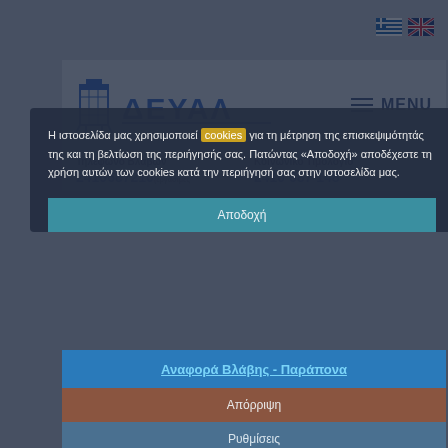[Figure (screenshot): Greek municipal water utility (ΔΕΥΑΛ) website screenshot showing logo, navigation menu button, phone numbers for damage reporting and social tariff, and a cookie consent modal overlay with Accept, Report Damage/Complaint link, Reject, and Settings buttons.]
Τηλέφωνο Βλαβών
Κοινωνικό Τιμολόγιο
2410687210 (εργάσιμες
2410 687 148
Η ιστοσελίδα μας χρησιμοποιεί cookies για τη μέτρηση της επισκεψιμότητάς της και τη βελτίωση της περιήγησής σας. Πατώντας «Αποδοχή» αποδέχεστε τη χρήση αυτών των cookies κατά την περιήγησή σας στην ιστοσελίδα μας.
Αποδοχή
Αναφορά Βλάβης - Παράπονα
Απόρριψη
Ρυθμίσεις